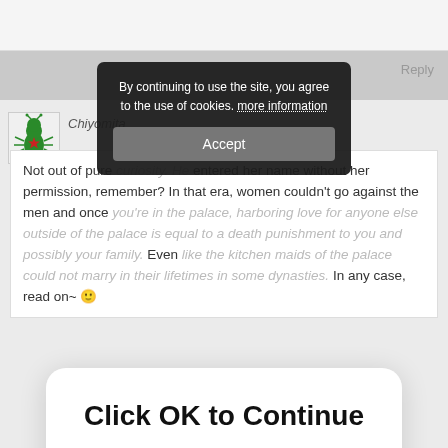Reply
[Figure (illustration): Chiyomita user avatar: cartoon ant/bug illustration with red star]
Chiyomita
Not out of pure curiosity. He entered her name without her permission, remember? In that era, women couldn't go against the men and once you're in the palace, harboring love for anyone else outside of the palace is equal to a death punishment to you and possibly your family. Even like the kitchen maids of the palace could not marry in their lifetimes in some dynasties. In any case, read on~ 🙂
[Figure (screenshot): Cookie consent popup overlay with dark background: 'By continuing to use the site, you agree to the use of cookies. more information' and Accept button]
[Figure (screenshot): Click OK to Continue modal popup with OK link button in blue, white rounded rectangle background]
Reply
[Figure (illustration): fan63 user avatar: cartoon purple squid/alien illustration]
fan63 AUGUST 7, 2017 AT 10:34 AM
I think the worse of it is that even though she returned to get Liang zhu when she saw his new...